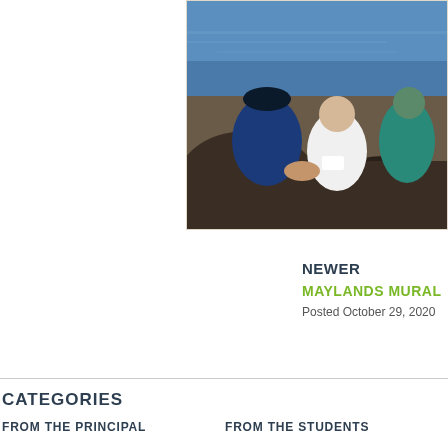[Figure (photo): Students sitting on rocks near water, wearing colored shirts, looking at something together]
NEWER
MAYLANDS MURAL
Posted October 29, 2020
CATEGORIES
FROM THE PRINCIPAL
FROM THE STUDENTS